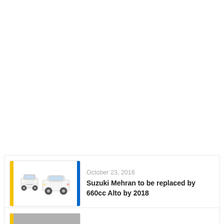[Figure (photo): Thumbnail image of a small white car (Suzuki Alto) shown from front and side view, with yellow left bar and blue right bar accent]
October 23, 2016
Suzuki Mehran to be replaced by 660cc Alto by 2018
[Figure (photo): Thumbnail image partially visible, gray/dark colored, with yellow left bar accent]
October 07, 2016